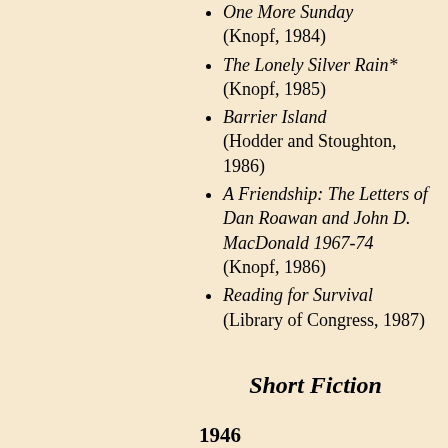One More Sunday (Knopf, 1984)
The Lonely Silver Rain* (Knopf, 1985)
Barrier Island (Hodder and Stoughton, 1986)
A Friendship: The Letters of Dan Roawan and John D. MacDonald 1967-74 (Knopf, 1986)
Reading for Survival (Library of Congress, 1987)
Short Fiction
1946
"Conversation on Deck" (The American Courier, January-